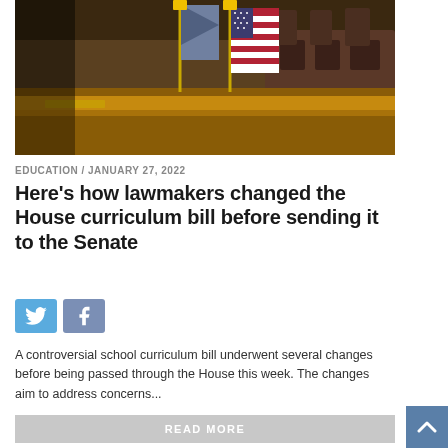[Figure (photo): Photo of a legislative chamber room with American flags and other flags on poles behind a long wooden committee desk/bench, with chairs in background]
EDUCATION / JANUARY 27, 2022
Here's how lawmakers changed the House curriculum bill before sending it to the Senate
[Figure (other): Social media share buttons: Twitter (blue bird icon) and Facebook (blue f icon)]
A controversial school curriculum bill underwent several changes before being passed through the House this week. The changes aim to address concerns...
READ MORE